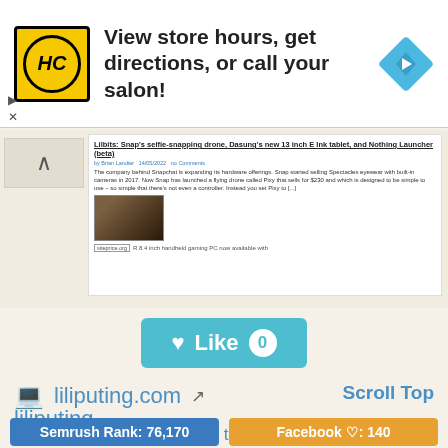[Figure (infographic): Advertisement banner with HC logo (yellow circle), text 'View store hours, get directions, or call your salon!', and a blue diamond navigation icon]
[Figure (screenshot): Screenshot of a Liliputing blog article: 'Lilbits: Snap's selfie-snapping drone, Dasung's new 13 inch E Ink tablet, and Nothing Launcher (beta)' with article text and image, plus siteprice.org badge]
[Figure (infographic): Teal Like button with heart icon showing count of 0]
[Figure (logo): Laptop emoji icon for liliputing.com]
liliputing.com
Scroll Top
liliputing
covering mobile tech news, tips and reviews with a focus on smartphones, tablets, notebook, and handheld computers as well as tiny desktop pcs
Semrush Rank: 76,170
Facebook ♡: 140